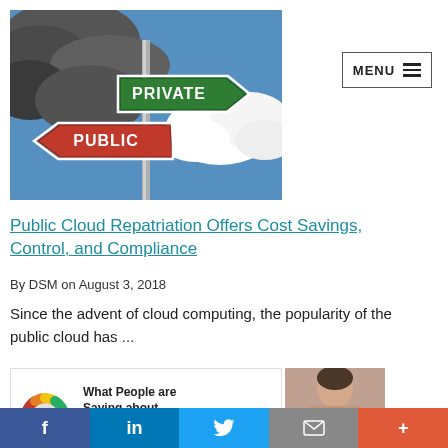[Figure (photo): Road sign photo showing green arrow sign pointing right labeled PRIVATE and red arrow sign pointing left labeled PUBLIC, against a blue sky with clouds]
[Figure (screenshot): MENU button with hamburger icon in top right]
Public Cloud Repatriation Offers Cost Savings, Control, and Compliance
By DSM on August 3, 2018
Since the advent of cloud computing, the popularity of the public cloud has ...
[Figure (donut-chart): Partial donut/gauge chart with colored segments (red, orange, yellow, green) visible at bottom left of a card]
What People are Saying about
[Figure (photo): Partial photo of a person's face/head on the right side of the card]
f  in  Twitter bird  envelope  +